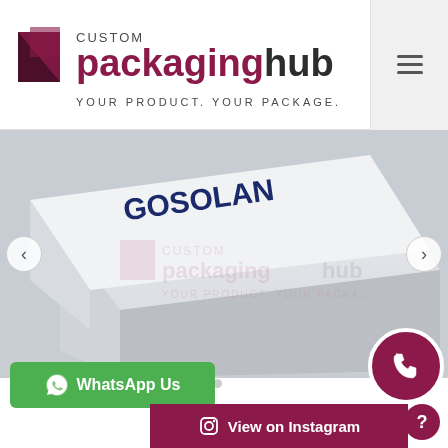[Figure (logo): Custom Packaging Hub logo with icon and tagline 'Your Product. Your Package.']
[Figure (photo): A white magnetic closure gift box with 'GOSOLAN' text printed on the lid, shown open at an angle on a white surface. The Custom Packaging Hub watermark logo is overlaid on the image.]
WhatsApp Us
View on Instagram